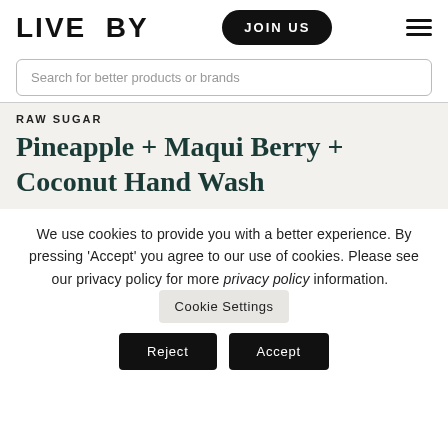LIVE BY
JOIN US
Search for better products or brands
RAW SUGAR
Pineapple + Maqui Berry + Coconut Hand Wash
We use cookies to provide you with a better experience. By pressing ‘Accept’ you agree to our use of cookies. Please see our privacy policy for more privacy policy information.
Cookie Settings
Reject
Accept